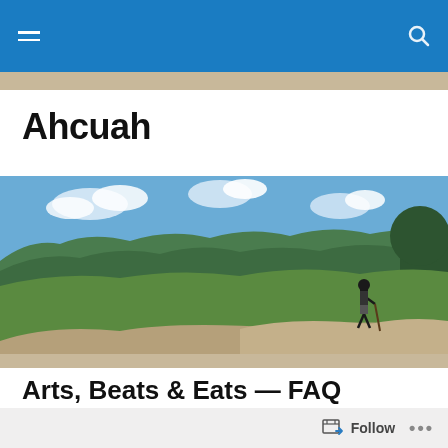Ahcuah — navigation bar with hamburger menu and search icon
Ahcuah
[Figure (photo): Panoramic outdoor photo showing a person standing on a rock outcrop overlooking a forested valley with a blue sky and white clouds in the background.]
Arts, Beats & Eats — FAQ Updated
I am happy to report that the Arts, Beats & Eats Festival in
Follow  ...